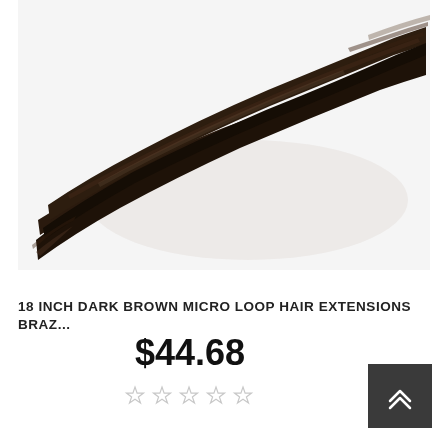[Figure (photo): Product photo of dark brown micro loop hair extensions on white background, showing a bundle of straight dark brown hair arranged diagonally]
18 INCH DARK BROWN MICRO LOOP HAIR EXTENSIONS BRAZ...
$44.68
[Figure (other): Five empty star rating icons (0 out of 5 stars)]